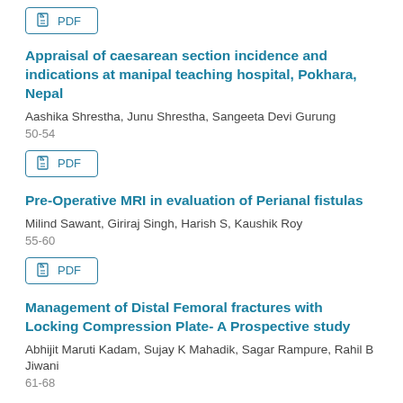PDF
Appraisal of caesarean section incidence and indications at manipal teaching hospital, Pokhara, Nepal
Aashika Shrestha, Junu Shrestha, Sangeeta Devi Gurung
50-54
PDF
Pre-Operative MRI in evaluation of Perianal fistulas
Milind Sawant, Giriraj Singh, Harish S, Kaushik Roy
55-60
PDF
Management of Distal Femoral fractures with Locking Compression Plate- A Prospective study
Abhijit Maruti Kadam, Sujay K Mahadik, Sagar Rampure, Rahil B Jiwani
61-68